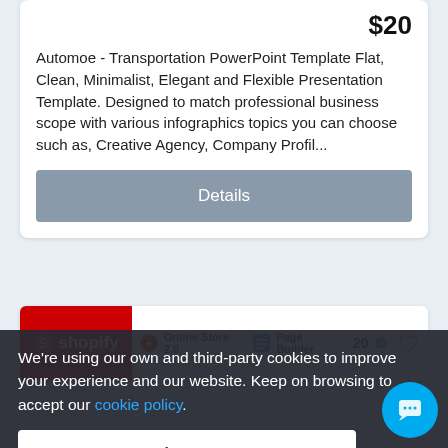$20
Automoe - Transportation PowerPoint Template Flat, Clean, Minimalist, Elegant and Flexible Presentation Template. Designed to match professional business scope with various infographics topics you can choose such as, Creative Agency, Company Profil...
Details
[Figure (screenshot): Shopify marketplace listing bar showing shopify logo in red, Online Store 2.0 badge, Page Builder badge, rating count 20, and a heart/wishlist icon]
We're using our own and third-party cookies to improve your experience and our website. Keep on browsing to accept our cookie policy.
Accept